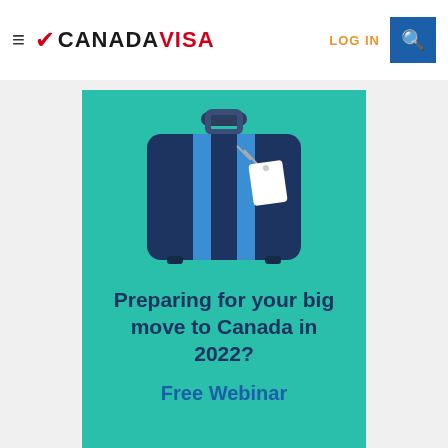≡ ❋ CANADAVISA  LOG IN 🔍
[Figure (illustration): Suitcase/luggage illustration in dark navy blue with blue stripes and a white luggage tag, on a teal background]
Preparing for your big move to Canada in 2022?
Free Webinar